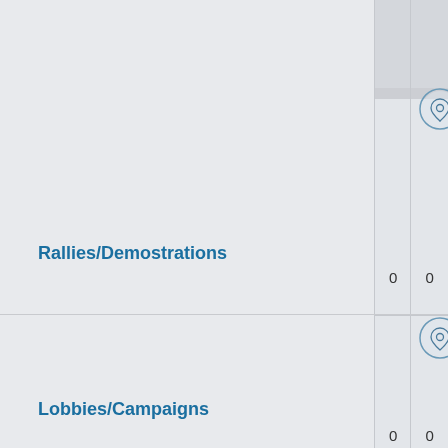[Figure (illustration): Icon of a map pin / location marker inside a circle, for Rallies/Demostrations section]
Rallies/Demostrations
|  | Col1 | Col2 |
| --- | --- | --- |
| Rallies/Demostrations | 0 | 0 |
| Lobbies/Campaigns | 0 | 0 |
[Figure (illustration): Icon of a map pin / location marker inside a circle, for Lobbies/Campaigns section]
Lobbies/Campaigns